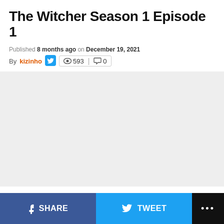The Witcher Season 1 Episode 1
Published 8 months ago on December 19, 2021
By kizinho  👁 593 | 💬 0
[Figure (photo): Large image placeholder area with light grey background, related to The Witcher Season 1 Episode 1]
SHARE  TWEET  ...